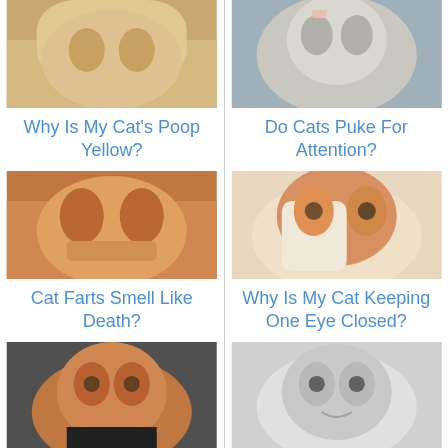[Figure (photo): Close-up photo of a cat, yellowish fur, top of page left column]
Why Is My Cat's Poop Yellow?
[Figure (photo): Close-up photo of a cat licking, gray/white, top of page right column]
Do Cats Puke For Attention?
[Figure (photo): Photo of a Scottish Fold cat sitting on orange background, left column middle]
Cat Farts Smell Like Death?
[Figure (photo): Photo of an orange and white cat looking forward, right column middle]
Why Is My Cat Keeping One Eye Closed?
[Figure (photo): Photo of an orange cat peeking from under something, left column bottom]
Why Do...
[Figure (photo): Photo of a gray cat looking up, right column bottom]
How to Treat...